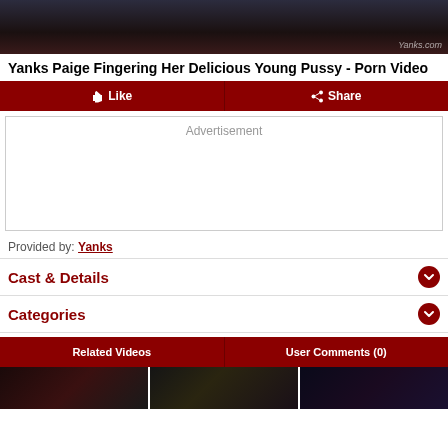[Figure (screenshot): Video thumbnail showing partial view of adult content with Yanks.com watermark]
Yanks Paige Fingering Her Delicious Young Pussy - Porn Video
👍 Like  ← Share
Advertisement
Provided by: Yanks
Cast & Details
Categories
Related Videos  User Comments (0)
[Figure (photo): Three related video thumbnails at bottom]